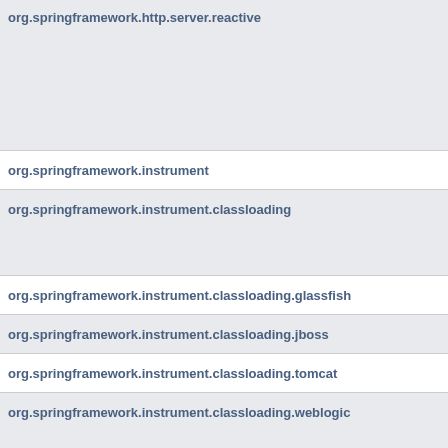| org.springframework.http.server.reactive |
| org.springframework.instrument |
| org.springframework.instrument.classloading |
| org.springframework.instrument.classloading.glassfish |
| org.springframework.instrument.classloading.jboss |
| org.springframework.instrument.classloading.tomcat |
| org.springframework.instrument.classloading.weblogic |
| org.springframework.instrument.classloading.websphere |
| org.springframework.jca.cci |
| org.springframework.jca.cci.connection |